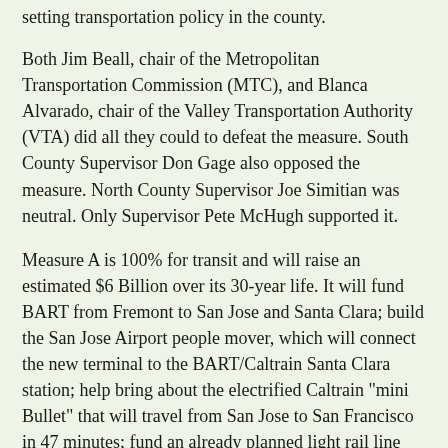setting transportation policy in the county.
Both Jim Beall, chair of the Metropolitan Transportation Commission (MTC), and Blanca Alvarado, chair of the Valley Transportation Authority (VTA) did all they could to defeat the measure. South County Supervisor Don Gage also opposed the measure. North County Supervisor Joe Simitian was neutral. Only Supervisor Pete McHugh supported it.
Measure A is 100% for transit and will raise an estimated $6 Billion over its 30-year life. It will fund BART from Fremont to San Jose and Santa Clara; build the San Jose Airport people mover, which will connect the new terminal to the BART/Caltrain Santa Clara station; help bring about the electrified Caltrain "mini Bullet" that will travel from San Jose to San Francisco in 47 minutes; fund an already planned light rail line and at least two additional major lines; help bring about the Dumbarton Bridge rail service; and improve our arterial bus lines. In short, it is an environmentalist's dream.
A surprising chain of events lead to the creation of this measure.
San Jose Mayor Ron Gonzales won his election on a platform that included a rail link to the Fremont BART station. After his election he began talking about bringing BART to San Jose. At the Measure A election victory party, Mayor Gonzales credited an MTS